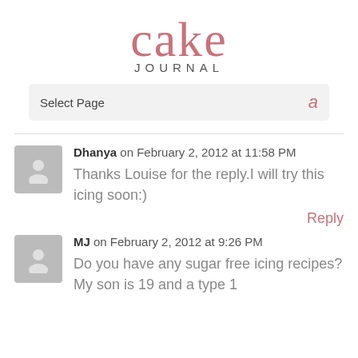[Figure (logo): Cake Journal logo with 'cake' in large pink serif font and 'JOURNAL' in small grey caps below]
Select Page
Dhanya on February 2, 2012 at 11:58 PM
Thanks Louise for the reply.I will try this icing soon:)
Reply
MJ on February 2, 2012 at 9:26 PM
Do you have any sugar free icing recipes? My son is 19 and a type 1